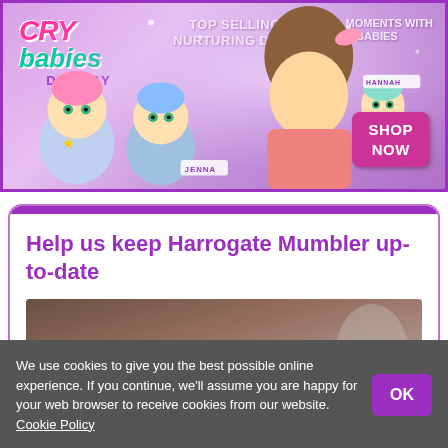[Figure (illustration): Cry Babies Dressy advertisement banner with purple sparkly background, showing animated baby dolls (Jenna and Hannah) and a child playing. Text reads: TOP SELLING NURTURING DOLL, SPECIAL MOMENTS WITH CRY BABIES, SHOP NOW button.]
Help us keep Harrogate Mumbler up-to-date
[Figure (photo): Partial image with dark brown/grey background and large white text reading: PLEASE GIVE US A HAND IF YOU CAN]
We use cookies to give you the best possible online experience. If you continue, we'll assume you are happy for your web browser to receive cookies from our website. Cookie Policy